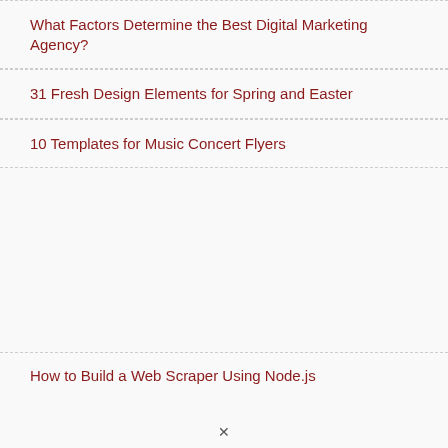What Factors Determine the Best Digital Marketing Agency?
31 Fresh Design Elements for Spring and Easter
10 Templates for Music Concert Flyers
How to Build a Web Scraper Using Node.js